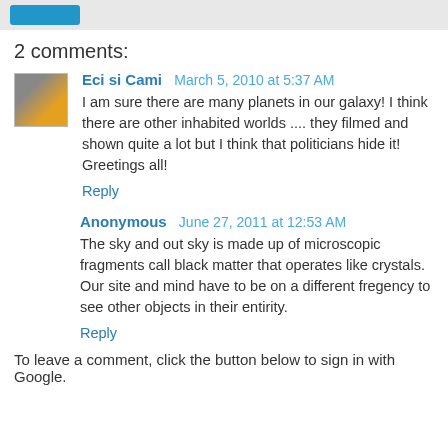2 comments:
Eci si Cami  March 5, 2010 at 5:37 AM
I am sure there are many planets in our galaxy! I think there are other inhabited worlds .... they filmed and shown quite a lot but I think that politicians hide it!
Greetings all!
Reply
Anonymous  June 27, 2011 at 12:53 AM
The sky and out sky is made up of microscopic fragments call black matter that operates like crystals. Our site and mind have to be on a different fregency to see other objects in their entirity.
Reply
To leave a comment, click the button below to sign in with Google.